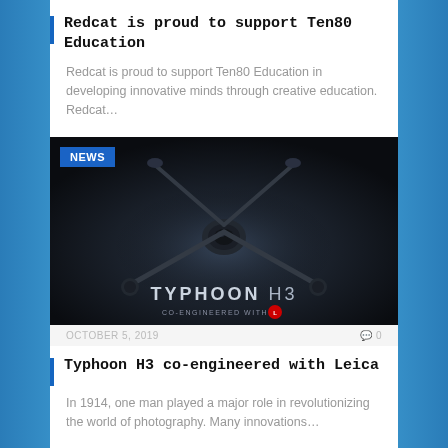Redcat is proud to support Ten80 Education
Redcat is proud to support Ten80 Education in developing innovative minds through creative education. Redcat…
[Figure (photo): Dark promotional image of a drone (Typhoon H3) with text 'TYPHOON H3 CO-ENGINEERED WITH LEICA' and a NEWS badge overlay]
OCTOBER 5, 2019   🗨 0
Typhoon H3 co-engineered with Leica
In 1914, one man played a major role in revolutionizing the world of photography. Many innovations…